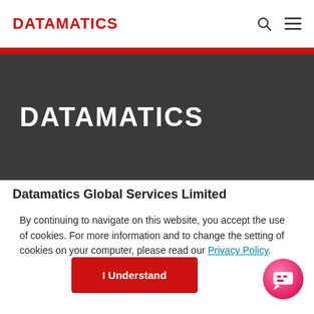DATAMATICS
[Figure (logo): Datamatics logo in white on dark banner background]
Datamatics Global Services Limited
By continuing to navigate on this website, you accept the use of cookies. For more information and to change the setting of cookies on your computer, please read our Privacy Policy.
I Understand